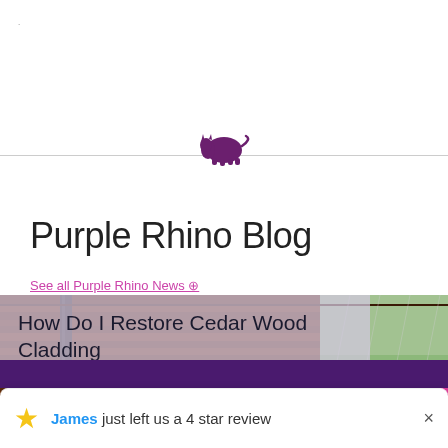Purple Rhino logo header with horizontal rule
Purple Rhino Blog
See all Purple Rhino News ⊕
[Figure (photo): Cedar wood cladding on a building exterior with trees in background]
How Do I Restore Cedar Wood Cladding
James just left us a 4 star review